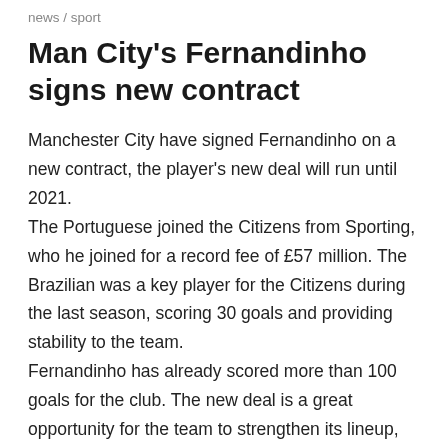news / sport
Man City's Fernandinho signs new contract
Manchester City have signed Fernandinho on a new contract, the player's new deal will run until 2021.
The Portuguese joined the Citizens from Sporting, who he joined for a record fee of £57 million. The Brazilian was a key player for the Citizens during the last season, scoring 30 goals and providing stability to the team.
Fernandinho has already scored more than 100 goals for the club. The new deal is a great opportunity for the team to strengthen its lineup, and it will be interesting to see how the club will